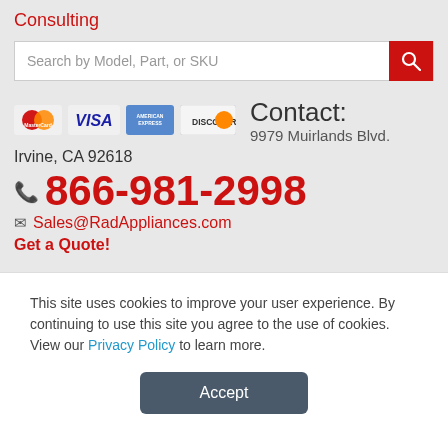Consulting
[Figure (screenshot): Search bar with placeholder text 'Search by Model, Part, or SKU' and a red search button with magnifying glass icon]
[Figure (infographic): Payment method logos: MasterCard, VISA, American Express, Discover]
Contact: 9979 Muirlands Blvd.
Irvine, CA 92618
866-981-2998
Sales@RadAppliances.com
Get a Quote!
This site uses cookies to improve your user experience. By continuing to use this site you agree to the use of cookies. View our Privacy Policy to learn more.
Accept